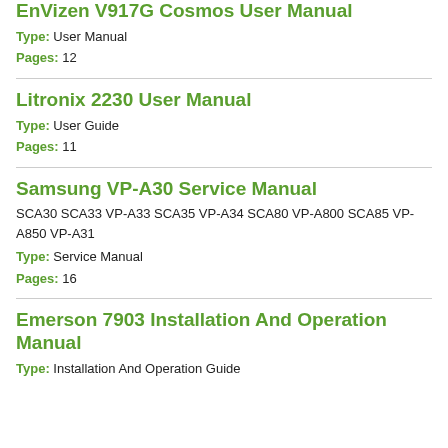EnVizen V917G Cosmos User Manual
Type: User Manual
Pages: 12
Litronix 2230 User Manual
Type: User Guide
Pages: 11
Samsung VP-A30 Service Manual
SCA30 SCA33 VP-A33 SCA35 VP-A34 SCA80 VP-A800 SCA85 VP-A850 VP-A31
Type: Service Manual
Pages: 16
Emerson 7903 Installation And Operation Manual
Type: Installation And Operation Guide